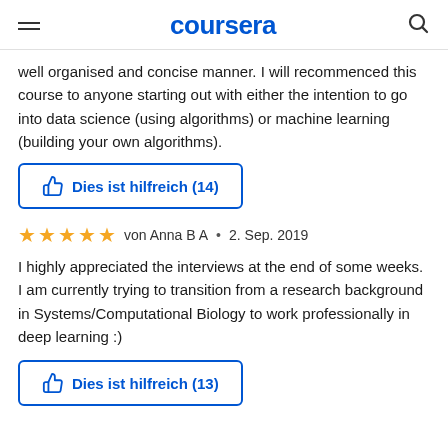coursera
well organised and concise manner. I will recommenced this course to anyone starting out with either the intention to go into data science (using algorithms) or machine learning (building your own algorithms).
Dies ist hilfreich (14)
von Anna B A  •  2. Sep. 2019
I highly appreciated the interviews at the end of some weeks. I am currently trying to transition from a research background in Systems/Computational Biology to work professionally in deep learning :)
Dies ist hilfreich (13)